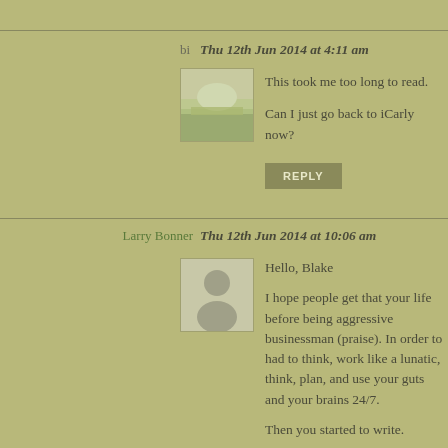bi
Thu 12th Jun 2014 at 4:11 am
[Figure (photo): User avatar photo for commenter 'bi' showing a beach/outdoors scene]
This took me too long to read.

Can I just go back to iCarly now?
REPLY
Larry Bonner
Thu 12th Jun 2014 at 10:06 am
[Figure (illustration): Default user avatar silhouette for Larry Bonner]
Hello, Blake

I hope people get that your life before being aggressive businessman (praise). In order to had to think, work like a lunatic, think, plan, and use your guts and your brains 24/7.

Then you started to write.

Being hard-wired into what it really takes to for with the coin of experience and will.

Tell 'em the good and the bad news, Blake: S wired into your genes. It takes everything yo get out of the ring.